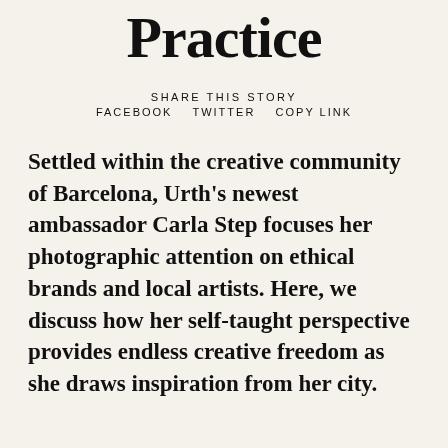Practice
SHARE THIS STORY
FACEBOOK   TWITTER   COPY LINK
Settled within the creative community of Barcelona, Urth's newest ambassador Carla Step focuses her photographic attention on ethical brands and local artists. Here, we discuss how her self-taught perspective provides endless creative freedom as she draws inspiration from her city.